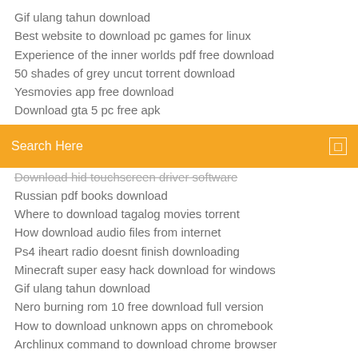Gif ulang tahun download
Best website to download pc games for linux
Experience of the inner worlds pdf free download
50 shades of grey uncut torrent download
Yesmovies app free download
Download gta 5 pc free apk
[Figure (screenshot): Orange search bar with text 'Search Here' and a menu icon on the right]
Download hid touchscreen driver software
Russian pdf books download
Where to download tagalog movies torrent
How download audio files from internet
Ps4 iheart radio doesnt finish downloading
Minecraft super easy hack download for windows
Gif ulang tahun download
Nero burning rom 10 free download full version
How to download unknown apps on chromebook
Archlinux command to download chrome browser